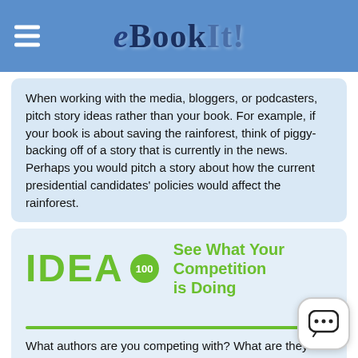eBookIt!
When working with the media, bloggers, or podcasters, pitch story ideas rather than your book. For example, if your book is about saving the rainforest, think of piggy-backing off of a story that is currently in the news. Perhaps you would pitch a story about how the current presidential candidates' policies would affect the rainforest.
IDEA 100 See What Your Competition is Doing
What authors are you competing with? What are they doing? What do their websites look like? How about their Amazon profiles? Can find them on Google? Do they display their books at tradeshows if so which ones? Lorem more content about them. This